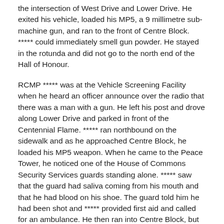the intersection of West Drive and Lower Drive. He exited his vehicle, loaded his MP5, a 9 millimetre sub-machine gun, and ran to the front of Centre Block. ***** could immediately smell gun powder. He stayed in the rotunda and did not go to the north end of the Hall of Honour.
RCMP ***** was at the Vehicle Screening Facility when he heard an officer announce over the radio that there was a man with a gun. He left his post and drove along Lower Drive and parked in front of the Centennial Flame. ***** ran northbound on the sidewalk and as he approached Centre Block, he loaded his MP5 weapon. When he came to the Peace Tower, he noticed one of the House of Commons Security Services guards standing alone. ***** saw that the guard had saliva coming from his mouth and that he had blood on his shoe. The guard told him he had been shot and ***** provided first aid and called for an ambulance. He then ran into Centre Block, but by then, the incident was over and the gunman was handcuffed.